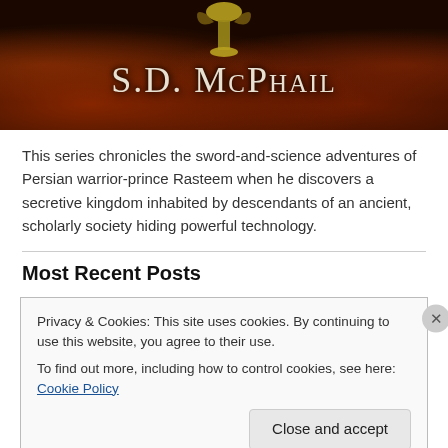[Figure (illustration): Dark fantasy banner image with fiery orange-red background and ornate emblem at top center. White serif text reads 'S.D. McPhail' in small caps style against a dark background with flame-like patterns.]
This series chronicles the sword-and-science adventures of Persian warrior-prince Rasteem when he discovers a secretive kingdom inhabited by descendants of an ancient, scholarly society hiding powerful technology.
Most Recent Posts
Privacy & Cookies: This site uses cookies. By continuing to use this website, you agree to their use.
To find out more, including how to control cookies, see here: Cookie Policy
Close and accept